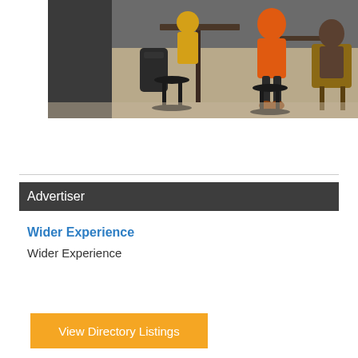[Figure (photo): Indoor cafe/bar scene with people sitting on high stools at tall tables. One person in an orange jacket is prominently seated. Black backpacks visible. Industrial-style furniture on light concrete floor.]
Advertiser
Wider Experience
Wider Experience
View Directory Listings